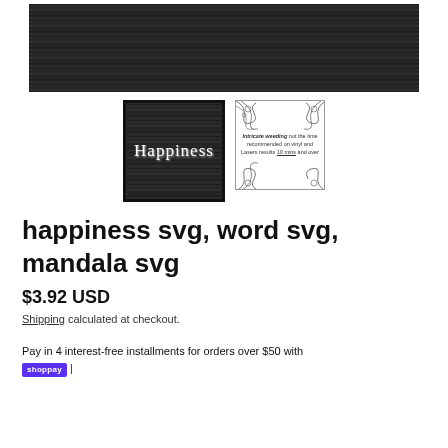[Figure (photo): Dark wood grain textured background image, black/dark grey]
[Figure (photo): Thumbnail 1 (selected/bordered): 'happiness' text in cursive white lettering on dark chalkboard background]
[Figure (photo): Thumbnail 2: Mandala SVG preview with text 'Intricate weeding not the time recommended on vinyl and Lasers results 10 mins and over' on white background with decorative swirling mandala borders]
happiness svg, word svg, mandala svg
$3.92 USD
Shipping calculated at checkout.
Pay in 4 interest-free installments for orders over $50 with shop pay |